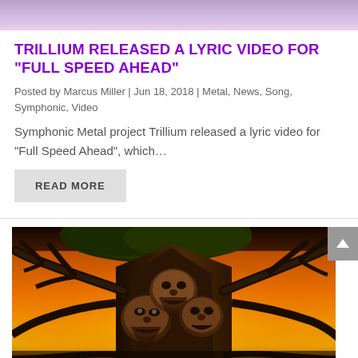[Figure (photo): Partial top image, cropped, showing a blurred/soft artistic image with purple and light tones]
TRILLIUM RELEASED A LYRIC VIDEO FOR “FULL SPEED AHEAD”
Posted by Marcus Miller | Jun 18, 2018 | Metal, News, Song, Symphonic, Video
Symphonic Metal project Trillium released a lyric video for “Full Speed Ahead”, which…
READ MORE
[Figure (illustration): Fantasy/metal illustration of a gnarled tree with three monstrous faces embedded in the trunk, set against a dramatic orange and yellow sunset sky]